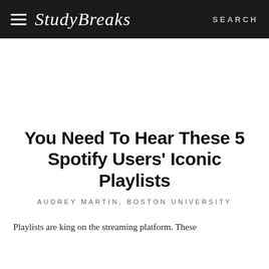Study Breaks | SEARCH
You Need To Hear These 5 Spotify Users' Iconic Playlists
AUDREY MARTIN, BOSTON UNIVERSITY
Playlists are king on the streaming platform. These